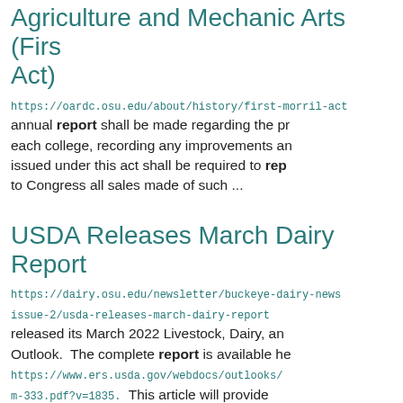Agriculture and Mechanic Arts (First Morrill Act)
https://oardc.osu.edu/about/history/first-morril-act annual report shall be made regarding the progress of each college, recording any improvements and issued under this act shall be required to report to Congress all sales made of such ...
USDA Releases March Dairy Report
https://dairy.osu.edu/newsletter/buckeye-dairy-news/issue-2/usda-releases-march-dairy-report released its March 2022 Livestock, Dairy, and Outlook. The complete report is available here https://www.ers.usda.gov/webdocs/outlooks/m-333.pdf?v=1835. This article will provide